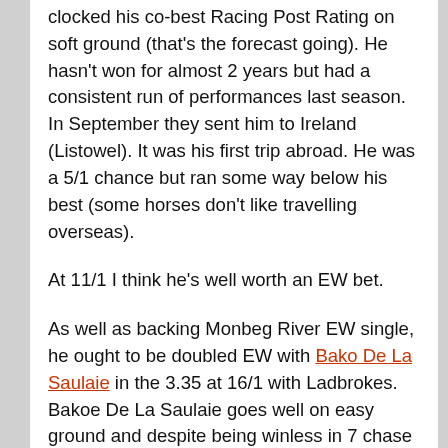clocked his co-best Racing Post Rating on soft ground (that's the forecast going). He hasn't won for almost 2 years but had a consistent run of performances last season. In September they sent him to Ireland (Listowel). It was his first trip abroad. He was a 5/1 chance but ran some way below his best (some horses don't like travelling overseas).
At 11/1 I think he's well worth an EW bet.
As well as backing Monbeg River EW single, he ought to be doubled EW with Bako De La Saulaie in the 3.35 at 16/1 with Ladbrokes. Bakoe De La Saulaie goes well on easy ground and despite being winless in 7 chase runs has been most consistent, building a formline that's most